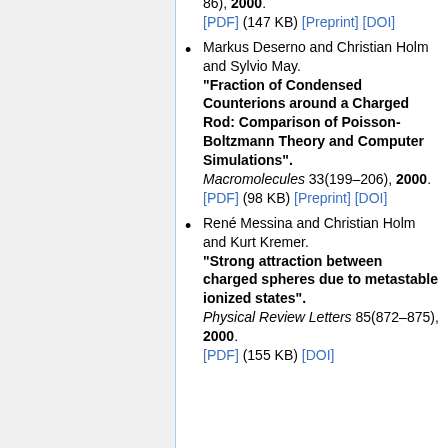86), 2000. [PDF] (147 KB) [Preprint] [DOI]
Markus Deserno and Christian Holm and Sylvio May. "Fraction of Condensed Counterions around a Charged Rod: Comparison of Poisson-Boltzmann Theory and Computer Simulations". Macromolecules 33(199–206), 2000. [PDF] (98 KB) [Preprint] [DOI]
René Messina and Christian Holm and Kurt Kremer. "Strong attraction between charged spheres due to metastable ionized states". Physical Review Letters 85(872–875), 2000. [PDF] (155 KB) [DOI]